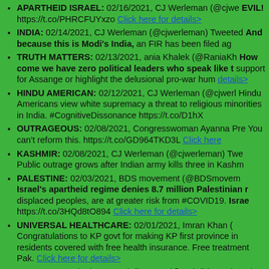APARTHEID ISRAEL: 02/16/2021, CJ Werleman (@cjwe... EVIL! https://t.co/PHRCFUYxzo Click here for details>
INDIA: 02/14/2021, CJ Werleman (@cjwerleman) Tweeted... And because this is Modi's India, an FIR has been filed ag...
TRUTH MATTERS: 02/13/2021, ania Khalek (@RaniaKh... How come we have zero political leaders who speak like t... support for Assange or highlight the delusional pro-war hum... details>
HINDU AMERICAN: 02/12/2021, CJ Werleman (@cjwerl... Hindu Americans view white supremacy a threat to religious... minorities in India. #CognitiveDissonance https://t.co/D1hX...
OUTRAGEOUS: 02/08/2021, Congresswoman Ayanna Pre... You can't reform this. https://t.co/GD964TKD3L Click here...
KASHMIR: 02/08/2021, CJ Werleman (@cjwerleman) Twe... Public outrage grows after Indian army kills three in Kashm...
PALESTINE: 02/03/2021, BDS movement (@BDSmovem... Israel's apartheid regime denies 8.7 million Palestinian r... displaced peoples, are at greater risk from #COVID19. Israe... https://t.co/3HQd8tO894 Click here for details>
UNIVERSAL HEALTHCARE: 02/01/2021, Imran Khan (... Congratulations to KP govt for making KP first province in... residents covered with free health insurance. Free treatment... Pak. Click here for details>
MYANMAR: 02/01/2021, Mehdi Hasan (@mehdirhasan) T... Oh. So helping the Myanmar military cover up their genoci...